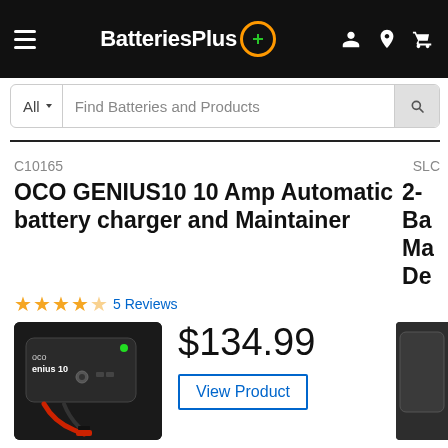BatteriesPlus
All  |  Find Batteries and Products
C10165   SLC
OCO GENIUS10 10 Amp Automatic battery charger and Maintainer
★★★★☆ 5 Reviews
$134.99
View Product
[Figure (photo): NOCO Genius10 10 Amp automatic battery charger product photo on dark background, with red clamp cables visible]